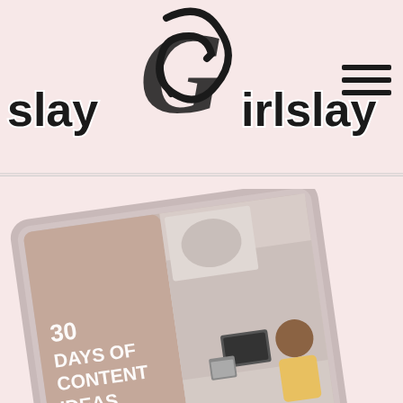[Figure (logo): slayGirlslay logo with stylized G script letter in black and white on pink background, with hamburger menu icon top right]
[Figure (illustration): Tablet device displaying an ebook cover titled '30 DAYS OF CONTENT IDEAS' with muted tan/mauve color scheme and photo of woman working at desk]